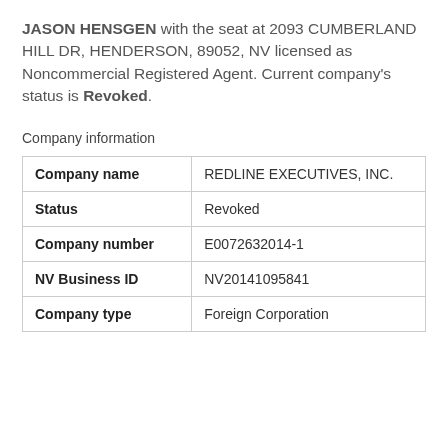JASON HENSGEN with the seat at 2093 CUMBERLAND HILL DR, HENDERSON, 89052, NV licensed as Noncommercial Registered Agent. Current company's status is Revoked.
Company information
|  |  |
| --- | --- |
| Company name | REDLINE EXECUTIVES, INC. |
| Status | Revoked |
| Company number | E0072632014-1 |
| NV Business ID | NV20141095841 |
| Company type | Foreign Corporation |